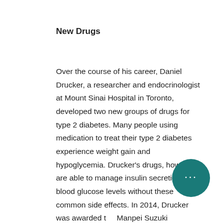New Drugs
Over the course of his career, Daniel Drucker, a researcher and endocrinologist at Mount Sinai Hospital in Toronto, developed two new groups of drugs for type 2 diabetes. Many people using medication to treat their type 2 diabetes experience weight gain and hypoglycemia. Drucker's drugs, however, are able to manage insulin secretion and blood glucose levels without these common side effects. In 2014, Drucker was awarded the Manpei Suzuki International Prize for Diabetes Research.